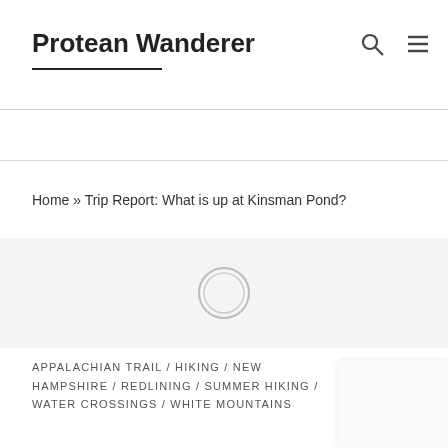Protean Wanderer
Home » Trip Report: What is up at Kinsman Pond?
[Figure (photo): Loading/placeholder image icon with a circular play/load indicator in center]
APPALACHIAN TRAIL / HIKING / NEW HAMPSHIRE / REDLINING / SUMMER HIKING / WATER CROSSINGS / WHITE MOUNTAINS